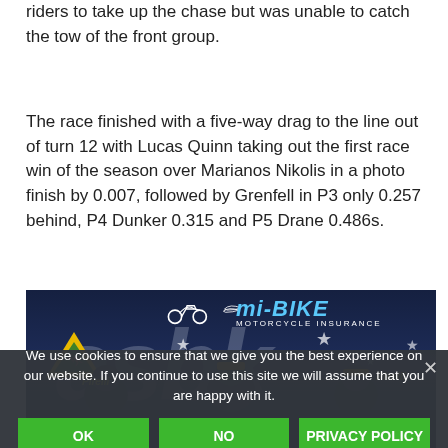riders to take up the chase but was unable to catch the tow of the front group.
The race finished with a five-way drag to the line out of turn 12 with Lucas Quinn taking out the first race win of the season over Marianos Nikolis in a photo finish by 0.007, followed by Grenfell in P3 only 0.257 behind, P4 Dunker 0.315 and P5 Drane 0.486s.
[Figure (photo): Photo of motorcycle racing podium or event with riders in front of an ASBK (Australian Superbike) and mi-bike Motorcycle Insurance branded backdrop. Riders wearing caps and race gear visible.]
We use cookies to ensure that we give you the best experience on our website. If you continue to use this site we will assume that you are happy with it.